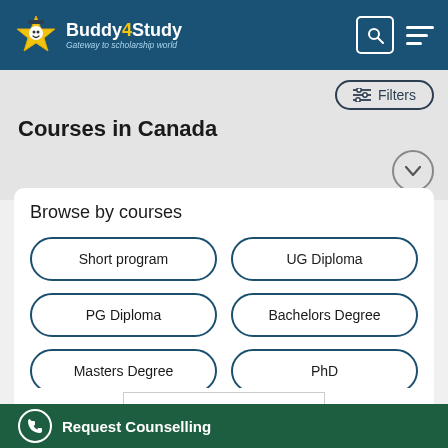Buddy4Study – Gateway to scholarship world
Courses in Canada
Browse by courses
Short program
UG Diploma
PG Diploma
Bachelors Degree
Masters Degree
PhD
[Figure (logo): Evergreen college logo with maple leaf]
Request Counselling